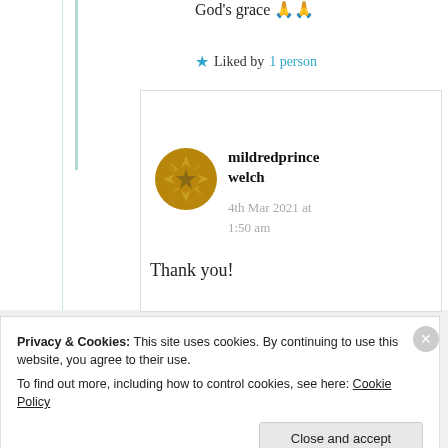God's grace 🙏🙏
★ Liked by 1 person
mildredprince welch
4th Mar 2021 at 1:50 am
Thank you!
Privacy & Cookies: This site uses cookies. By continuing to use this website, you agree to their use.
To find out more, including how to control cookies, see here: Cookie Policy